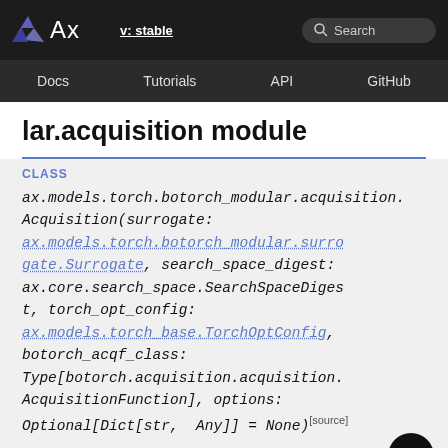Ax  v: stable  Search
Docs  Tutorials  API  GitHub
lar.acquisition module
CLASS
ax.models.torch.botorch_modular.acquisition.Acquisition(surrogate: ax.models.torch.botorch_modular.surrogate.Surrogate, search_space_digest: ax.core.search_space.SearchSpaceDigest, torch_opt_config: ax.models.torch_base.TorchOptConfig, botorch_acqf_class: Type[botorch.acquisition.acquisition.AcquisitionFunction], options: Optional[Dict[str, Any]] = None) [source]